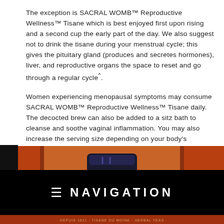The exception is SACRAL WOMB™ Reproductive Wellness™ Tisane which is best enjoyed first upon rising and a second cup the early part of the day. We also suggest not to drink the tisane during your menstrual cycle; this gives the pituitary gland (produces and secretes hormones), liver, and reproductive organs the space to reset and go through a regular cycle^.
Women experiencing menopausal symptoms may consume SACRAL WOMB™ Reproductive Wellness™ Tisane daily. The decocted brew can also be added to a sitz bath to cleanse and soothe vaginal inflammation. You may also increase the serving size depending on your body's chemistry.
However, with all herbal products, a week-long break between replenishments is recommended.
[Figure (photo): Product photo showing a dark jar/container against a warm orange-red decorative background, with a navigation bar overlay showing hamburger menu icon and NAVIGATION text in white on black background, and a product label strip at the bottom.]